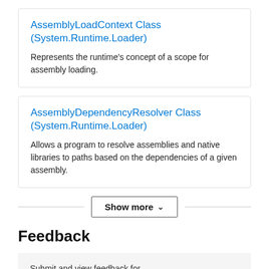AssemblyLoadContext Class (System.Runtime.Loader)
Represents the runtime's concept of a scope for assembly loading.
AssemblyDependencyResolver Class (System.Runtime.Loader)
Allows a program to resolve assemblies and native libraries to paths based on the dependencies of a given assembly.
Show more
Feedback
Submit and view feedback for